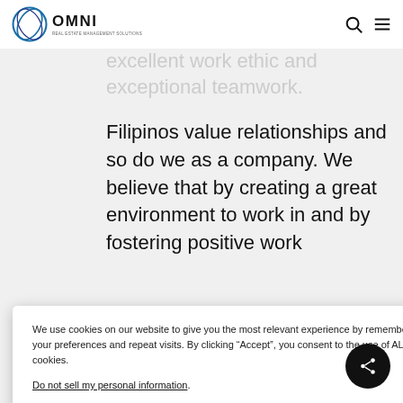OMNI
excellent work ethic and exceptional teamwork.
Filipinos value relationships and so do we as a company. We believe that by creating a great environment to work in and by fostering positive work
tivated ality
We use cookies on our website to give you the most relevant experience by remembering your preferences and repeat visits. By clicking “Accept”, you consent to the use of ALL the cookies.
Do not sell my personal information.
with give help
[Figure (screenshot): Cookie Settings and Accept buttons]